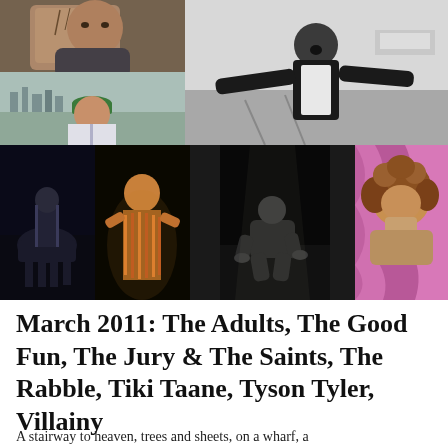[Figure (photo): Grid of 6 photos: top-left shows a tattooed man outdoors; below that a man in a baseball shirt; top-right large photo of a man in black jacket arms spread in a parking lot (black and white); bottom row: dark figure on horseback, lit performer in striped outfit, person crouching on stage in dark, person lying on pink/purple fabric]
March 2011: The Adults, The Good Fun, The Jury & The Saints, The Rabble, Tiki Taane, Tyson Tyler, Villainy
A stairway to heaven, trees and sheets, on a wharf, a